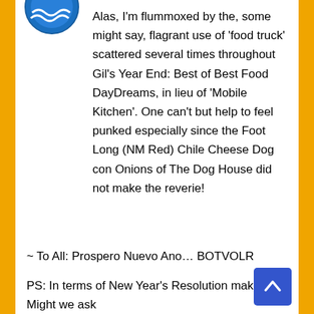[Figure (logo): Partial blue circular logo/icon visible at top left]
Alas, I'm flummoxed by the, some might say, flagrant use of 'food truck' scattered several times throughout Gil's Year End: Best of Best Food DayDreams, in lieu of 'Mobile Kitchen'. One can't but help to feel punked especially since the Foot Long (NM Red) Chile Cheese Dog con Onions of The Dog House did not make the reverie!
~ To All: Prospero Nuevo Ano… BOTVOLR
PS: In terms of New Year's Resolution making: Might we ask